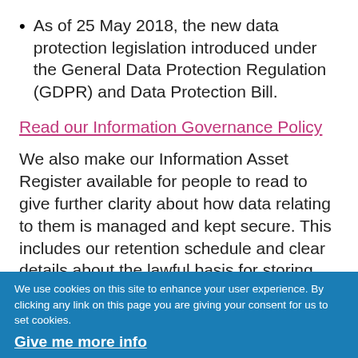As of 25 May 2018, the new data protection legislation introduced under the General Data Protection Regulation (GDPR) and Data Protection Bill.
Read our Information Governance Policy
We also make our Information Asset Register available for people to read to give further clarity about how data relating to them is managed and kept secure. This includes our retention schedule and clear details about the lawful basis for storing and keeping personally identifiable information.
We use cookies on this site to enhance your user experience. By clicking any link on this page you are giving your consent for us to set cookies. Give me more info